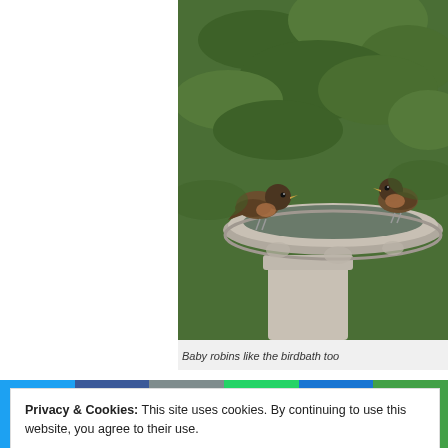[Figure (photo): Two young baby robins perched on a stone birdbath with butterfly relief carvings, surrounded by green foliage in the background.]
Baby robins like the birdbath too
•
Privacy & Cookies: This site uses cookies. By continuing to use this website, you agree to their use.
To find out more, including how to control cookies, see here: Cookie Policy
[Figure (infographic): Social share bar with buttons for Twitter, Facebook, Email, WhatsApp, SMS, and More options]